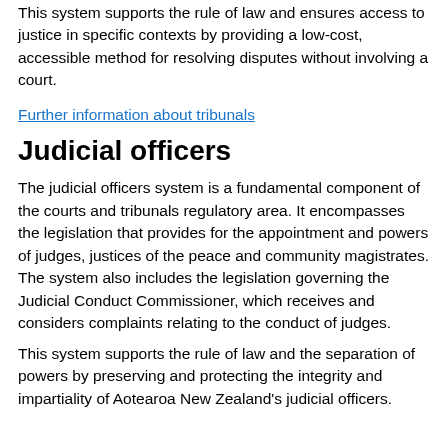This system supports the rule of law and ensures access to justice in specific contexts by providing a low-cost, accessible method for resolving disputes without involving a court.
Further information about tribunals
Judicial officers
The judicial officers system is a fundamental component of the courts and tribunals regulatory area. It encompasses the legislation that provides for the appointment and powers of judges, justices of the peace and community magistrates. The system also includes the legislation governing the Judicial Conduct Commissioner, which receives and considers complaints relating to the conduct of judges.
This system supports the rule of law and the separation of powers by preserving and protecting the integrity and impartiality of Aotearoa New Zealand's judicial officers.